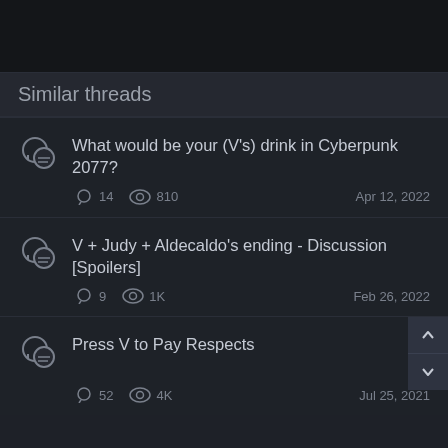Similar threads
What would be your (V's) drink in Cyberpunk 2077?
V + Judy + Aldecaldo's ending - Discussion [Spoilers]
Press V to Pay Respects